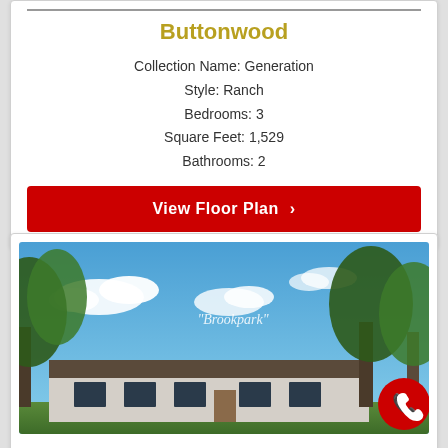Buttonwood
Collection Name: Generation
Style: Ranch
Bedrooms: 3
Square Feet: 1,529
Bathrooms: 2
View Floor Plan >
[Figure (photo): Exterior photo of a ranch-style home labeled 'Brookpark' with blue sky and trees in background. A red circular phone button is visible in the lower right corner.]